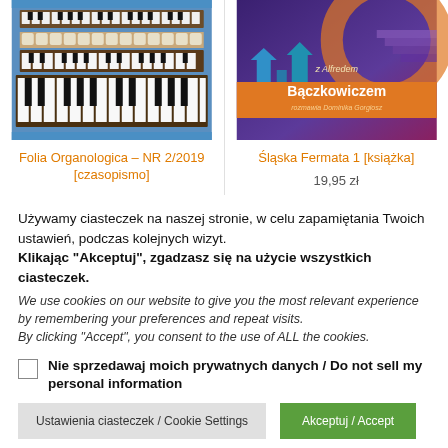[Figure (photo): Photo of organ keyboard/manuals viewed from above, with multiple rows of keys]
Folia Organologica – NR 2/2019 [czasopismo]
[Figure (illustration): Colorful illustrated book cover with city silhouette and text 'z Alfredem Bączkowiczem, rozmawia Dominika Gorgiosz']
Śląska Fermata 1 [książka]
19,95 zł
Używamy ciasteczek na naszej stronie, w celu zapamiętania Twoich ustawień, podczas kolejnych wizyt. Klikając "Akceptuj", zgadzasz się na użycie wszystkich ciasteczek. We use cookies on our website to give you the most relevant experience by remembering your preferences and repeat visits. By clicking "Accept", you consent to the use of ALL the cookies.
Nie sprzedawaj moich prywatnych danych / Do not sell my personal information
Ustawienia ciasteczek / Cookie Settings
Akceptuj / Accept